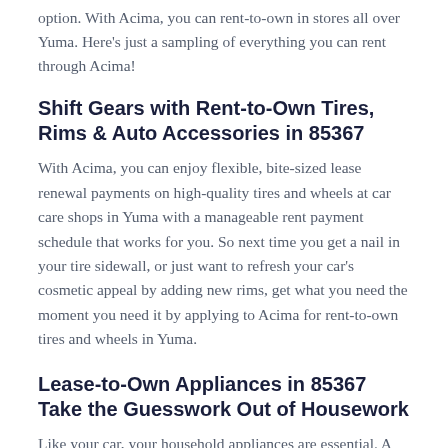option. With Acima, you can rent-to-own in stores all over Yuma. Here's just a sampling of everything you can rent through Acima!
Shift Gears with Rent-to-Own Tires, Rims & Auto Accessories in 85367
With Acima, you can enjoy flexible, bite-sized lease renewal payments on high-quality tires and wheels at car care shops in Yuma with a manageable rent payment schedule that works for you. So next time you get a nail in your tire sidewall, or just want to refresh your car's cosmetic appeal by adding new rims, get what you need the moment you need it by applying to Acima for rent-to-own tires and wheels in Yuma.
Lease-to-Own Appliances in 85367 Take the Guesswork Out of Housework
Like your car, your household appliances are essential. A top- or front- load washer and dryer set keep your clothes clean and the family looking stylish. The fridge is your family's most-